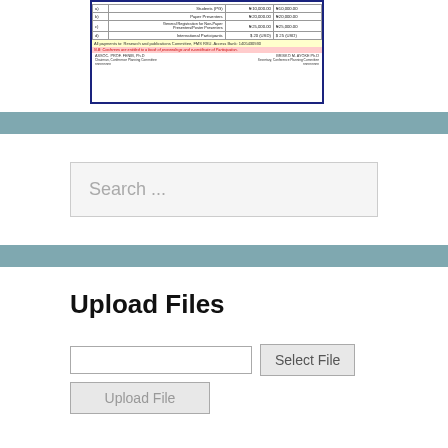[Figure (screenshot): Conference registration flyer showing a fee table with categories (Students PG, Paper Presenters, General Registration for Non-Paper Presenters/Poster Presenters, International Participants), amounts in Naira and USD, payment instructions, and names of conference organizing committee members.]
Search ...
Upload Files
Select File
Upload File